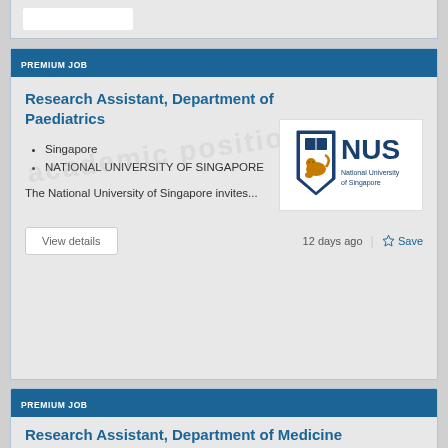[Figure (other): Partial job card at the top showing a white button element]
PREMIUM JOB
Research Assistant, Department of Paediatrics
Singapore
NATIONAL UNIVERSITY OF SINGAPORE
[Figure (logo): NUS National University of Singapore logo with shield and text]
The National University of Singapore invites...
View details
12 days ago
Save
PREMIUM JOB
Research Assistant, Department of Medicine